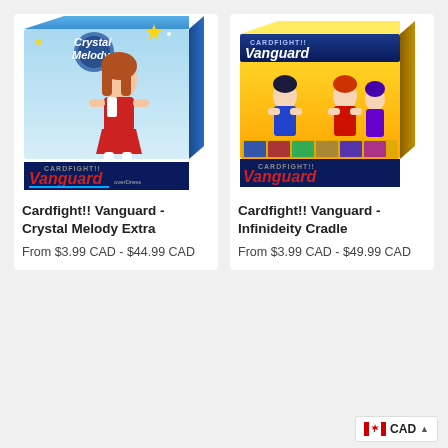[Figure (photo): Cardfight!! Vanguard Crystal Melody Extra booster box product image showing anime-style artwork with blue/white color scheme]
Cardfight!! Vanguard - Crystal Melody Extra
From $3.99 CAD - $44.99 CAD
[Figure (photo): Cardfight!! Vanguard Infinideity Cradle booster box product image showing anime-style artwork with yellow/blue color scheme]
Cardfight!! Vanguard - Infinideity Cradle
From $3.99 CAD - $49.99 CAD
CAD